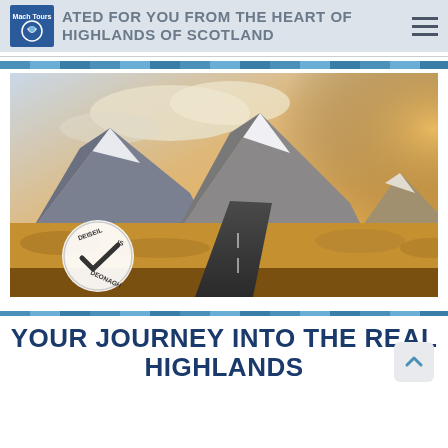CREATED FOR YOU FROM THE HEART OF THE HIGHLANDS OF SCOTLAND
[Figure (photo): Scenic Highland road leading toward snow-capped mountains under a dramatic sky with golden moorland on either side. A circular badge in the lower left reads 'DEISEIL IS DEONAGH' with a checkmark.]
YOUR JOURNEY INTO THE REAL HIGHLANDS